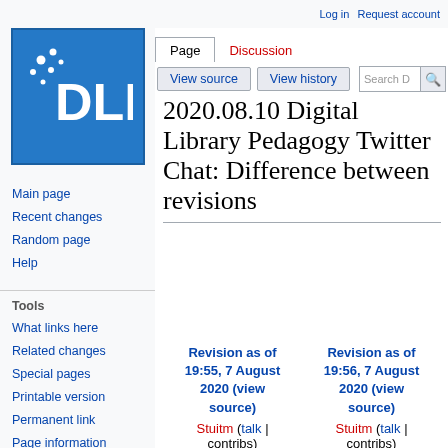Log in   Request account
[Figure (logo): DLF (Digital Library Federation) logo - white text and dots on blue background]
Main page
Recent changes
Random page
Help
Tools
What links here
Related changes
Special pages
Printable version
Permanent link
Page information
Cite this page
2020.08.10 Digital Library Pedagogy Twitter Chat: Difference between revisions
| Revision as of 19:55, 7 August 2020 (view source) | Revision as of 19:56, 7 August 2020 (view source) |
| --- | --- |
| Stuitm (talk | contribs) | Stuitm (talk | contribs) |